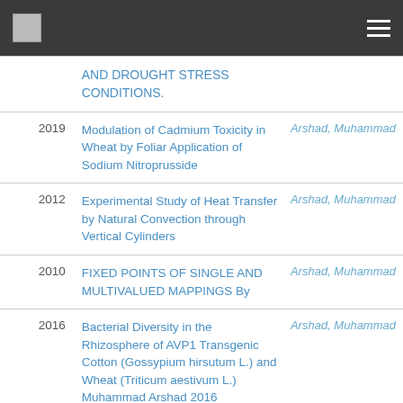| Year | Title | Author |
| --- | --- | --- |
|  | AND DROUGHT STRESS CONDITIONS. |  |
| 2019 | Modulation of Cadmium Toxicity in Wheat by Foliar Application of Sodium Nitroprusside | Arshad, Muhammad |
| 2012 | Experimental Study of Heat Transfer by Natural Convection through Vertical Cylinders | Arshad, Muhammad |
| 2010 | FIXED POINTS OF SINGLE AND MULTIVALUED MAPPINGS By | Arshad, Muhammad |
| 2016 | Bacterial Diversity in the Rhizosphere of AVP1 Transgenic Cotton (Gossypium hirsutum L.) and Wheat (Triticum aestivum L.) Muhammad Arshad 2016 Department of Biotechnology... | Arshad, Muhammad |